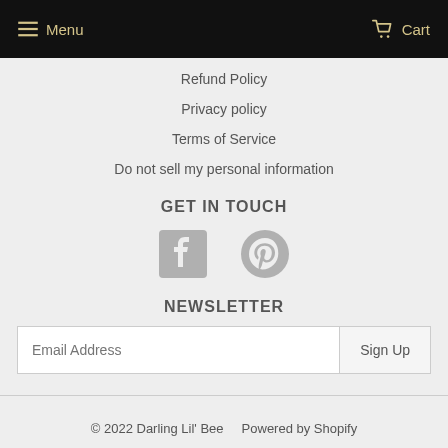Menu  Cart
Refund Policy
Privacy policy
Terms of Service
Do not sell my personal information
GET IN TOUCH
[Figure (other): Facebook and Pinterest social media icons]
NEWSLETTER
Email Address  Sign Up
© 2022 Darling Lil' Bee   Powered by Shopify